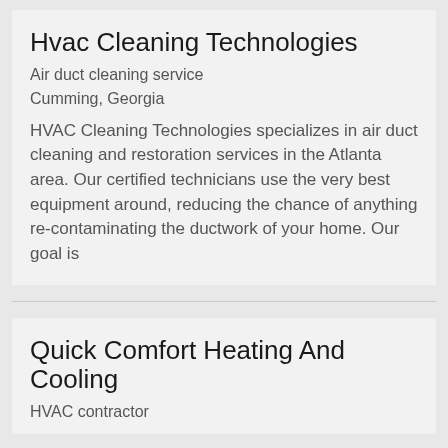Hvac Cleaning Technologies
Air duct cleaning service
Cumming, Georgia
HVAC Cleaning Technologies specializes in air duct cleaning and restoration services in the Atlanta area. Our certified technicians use the very best equipment around, reducing the chance of anything re-contaminating the ductwork of your home. Our goal is
Quick Comfort Heating And Cooling
HVAC contractor